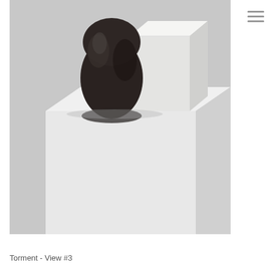[Figure (photo): A photograph of two sculptures on a white pedestal against a light gray background. On the left is a dark brown/black rounded organic form resembling a head or helmet, smooth and polished. On the right is a white rectangular block form. Both sit on a large white cube-shaped plinth.]
Torment - View #3